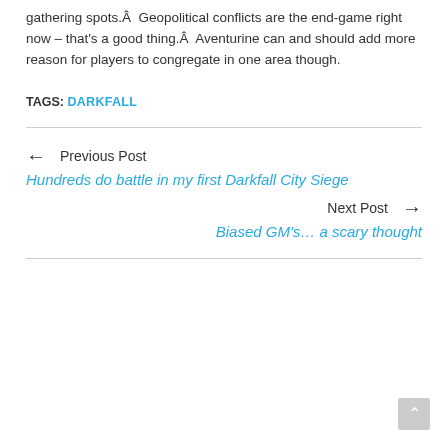gathering spots.Â  Geopolitical conflicts are the end-game right now – that’s a good thing.Â  Aventurine can and should add more reason for players to congregate in one area though.
TAGS: DARKFALL
← Previous Post
Hundreds do battle in my first Darkfall City Siege
Next Post →
Biased GM’s… a scary thought